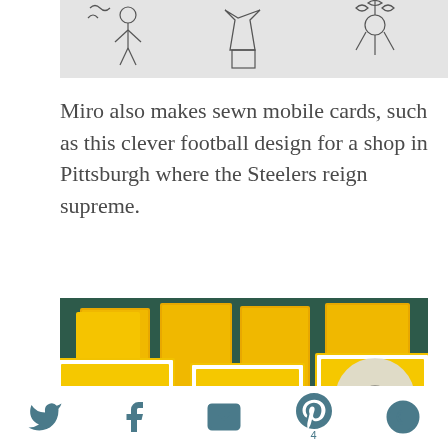[Figure (illustration): Wire art mobile sculptures on white background - partial top crop showing wire figure sketches]
Miro also makes sewn mobile cards, such as this clever football design for a shop in Pittsburgh where the Steelers reign supreme.
[Figure (photo): Multiple yellow and white folded greeting cards with circular football design elements standing upright, photographed from above at an angle]
Social sharing icons: Twitter, Facebook, Email, Pinterest (4), RSS/Feed